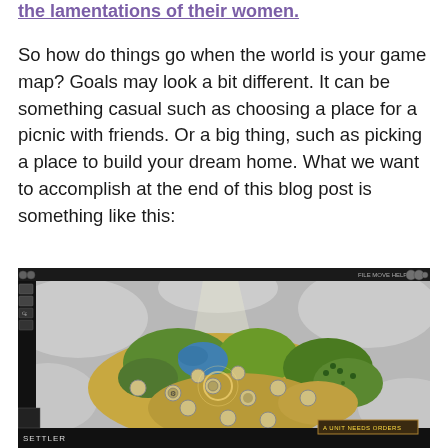the lamentations of their women.
So how do things go when the world is your game map? Goals may look a bit different. It can be something casual such as choosing a place for a picnic with friends. Or a big thing, such as picking a place to build your dream home. What we want to accomplish at the end of this blog post is something like this:
[Figure (screenshot): A screenshot of a strategy game (resembling Civilization) showing a hexagonal tile map with terrain features including grasslands, forests, desert/plains, and water, with unit icons on the map. The game interface shows a dark top menu bar, left-side panel with game controls, and bottom status bar showing 'SETTLER' and 'A UNIT NEEDS ORDERS' notification.]